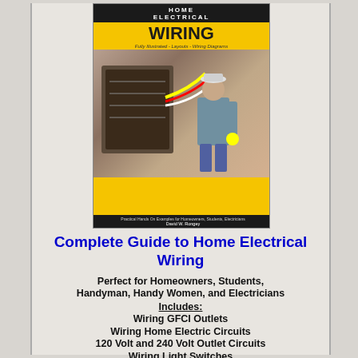[Figure (photo): Book cover of 'Complete Guide to Home Electrical Wiring' by David W. Rongey. Yellow and black cover with a photo of a man holding electrical wire, standing next to a breaker panel. Subtitle: Fully Illustrated - Layouts - Wiring Diagrams.]
Complete Guide to Home Electrical Wiring
Perfect for Homeowners, Students, Handyman, Handy Women, and Electricians
Includes:
Wiring GFCI Outlets
Wiring Home Electric Circuits
120 Volt and 240 Volt Outlet Circuits
Wiring Light Switches
Wiring 3-Wire and 4-Wire Electric Range
Wiring 3-Wire and 4-Wire Dryer Cord and